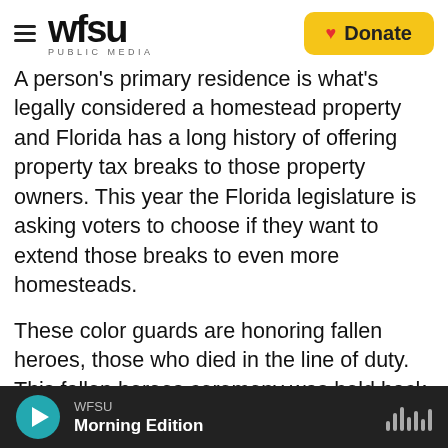WFSU PUBLIC MEDIA — Donate
A person's primary residence is what's legally considered a homestead property and Florida has a long history of offering property tax breaks to those property owners. This year the Florida legislature is asking voters to choose if they want to extend those breaks to even more homesteads.
These color guards are honoring fallen heroes, those who died in the line of duty. This fallen heroes ceremony was held back in May on the steps of Florida's Capital. Among those who took the podium to pay their respects was Miami-Dade Police Director James Loftus, who spoke about the
WFSU — Morning Edition